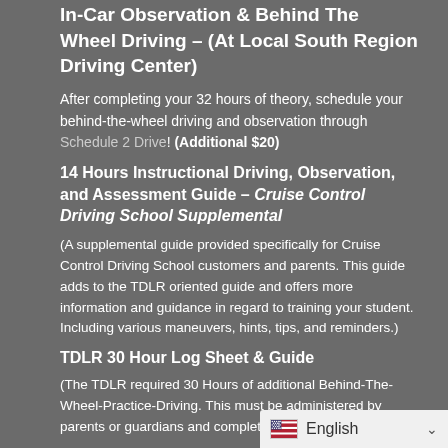In-Car Observation & Behind The Wheel Driving – (At Local South Region Driving Center)
After completing your 32 hours of theory, schedule your behind-the-wheel driving and observation through Schedule 2 Drive! (Additional $20)
14 Hours Instructional Driving, Observation, and Assessment Guide – Cruise Control Driving School Supplemental
(A supplemental guide provided specifically for Cruise Control Driving School customers and parents. This guide adds to the TDLR oriented guide and offers more information and guidance in regard to training your student. Including various maneuvers, hints, tips, and reminders.)
TDLR 30 Hour Log Sheet & Guide
(The TDLR required 30 Hours of additional Behind-The-Wheel-Practice-Driving. This must be administered by parents or guardians and completed…